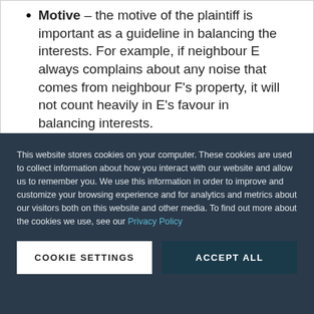Motive – the motive of the plaintiff is important as a guideline in balancing the interests. For example, if neighbour E always complains about any noise that comes from neighbour F's property, it will not count heavily in E's favour in balancing interests.
This website stores cookies on your computer. These cookies are used to collect information about how you interact with our website and allow us to remember you. We use this information in order to improve and customize your browsing experience and for analytics and metrics about our visitors both on this website and other media. To find out more about the cookies we use, see our Privacy Policy